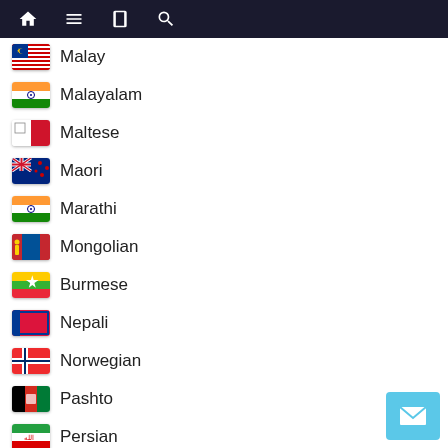Navigation bar with home, menu, book, search icons
Malay
Malayalam
Maltese
Maori
Marathi
Mongolian
Burmese
Nepali
Norwegian
Pashto
Persian
Punjabi
Serbian
Sesotho
Sinhala
Slovak
Slovenian
Somali
Samoan
Scots Gaelic
Shona
Sindhi
Sundanese